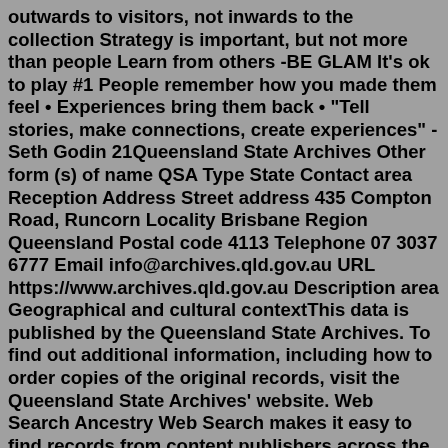outwards to visitors, not inwards to the collection Strategy is important, but not more than people Learn from others -BE GLAM It's ok to play #1 People remember how you made them feel • Experiences bring them back • "Tell stories, make connections, create experiences" - Seth Godin 21Queensland State Archives Other form (s) of name QSA Type State Contact area Reception Address Street address 435 Compton Road, Runcorn Locality Brisbane Region Queensland Postal code 4113 Telephone 07 3037 6777 Email info@archives.qld.gov.au URL https://www.archives.qld.gov.au Description area Geographical and cultural contextThis data is published by the Queensland State Archives. To find out additional information, including how to order copies of the original records, visit the Queensland State Archives' website. Web Search Ancestry Web Search makes it easy to find records from content publishers across the web.Email: info@archives.qld.gov.au Telephone: 07 3037 6777